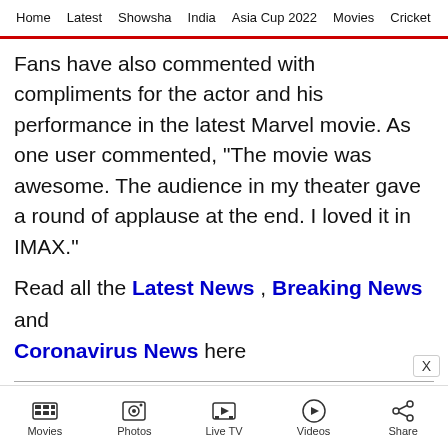Home | Latest | Showsha | India | Asia Cup 2022 | Movies | Cricket
Fans have also commented with compliments for the actor and his performance in the latest Marvel movie. As one user commented, “The movie was awesome. The audience in my theater gave a round of applause at the end. I loved it in IMAX.”
Read all the Latest News , Breaking News and Coronavirus News here
FOLLOW US ON
Movies | Photos | Live TV | Videos | Share